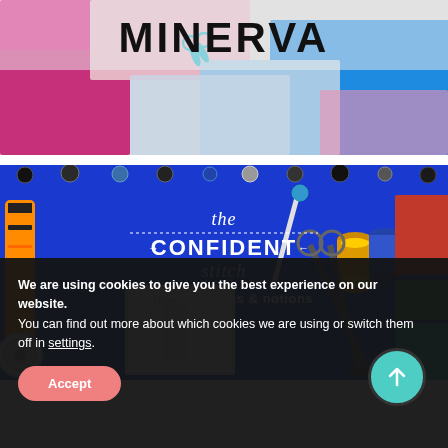[Figure (photo): Minerva logo/banner with colorful fabrics, scissors, and sewing notions. Bold text 'MINERVA' on a banner over colorful sewing fabrics.]
[Figure (photo): The Confident Stitch - fabrics, patterns & notions. Blue background with sewing tools: rotary cutter, thread spools, scissors, sewing patterns (Colette brand), buttons, measuring tape, and fabric swatches.]
We are using cookies to give you the best experience on our website.
You can find out more about which cookies we are using or switch them off in settings.
Accept